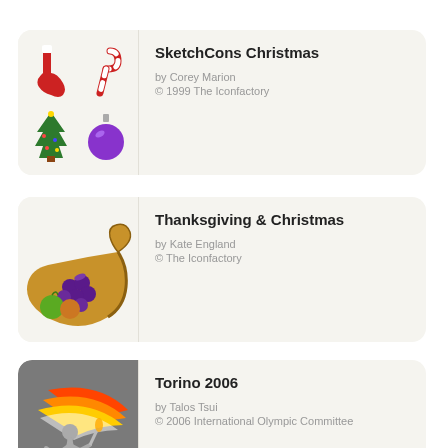[Figure (illustration): SketchCons Christmas icon set card showing a red stocking, candy cane, Christmas tree, and purple ornament on a light beige background]
SketchCons Christmas
by Corey Marion
© 1999 The Iconfactory
[Figure (illustration): Thanksgiving & Christmas icon set card showing a cornucopia with fruits on a light beige background]
Thanksgiving & Christmas
by Kate England
© The Iconfactory
[Figure (illustration): Torino 2006 icon set card showing a running athlete figure with colorful flame streaks on a gray background]
Torino 2006
by Talos Tsui
© 2006 International Olympic Committee
[Figure (illustration): Torino (Left Monitor) icon set card with blue gradient background]
Torino (Left Monitor)